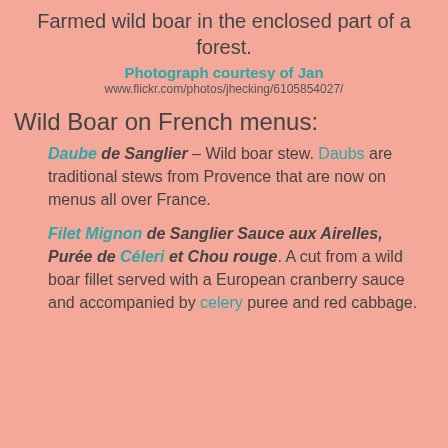Farmed wild boar in the enclosed part of a forest.
Photograph courtesy of Jan
www.flickr.com/photos/jhecking/6105854027/
Wild Boar on French menus:
Daube de Sanglier – Wild boar stew. Daubs are traditional stews from Provence that are now on menus all over France.
Filet Mignon de Sanglier Sauce aux Airelles, Purée de Céleri et Chou rouge. A cut from a wild boar fillet served with a European cranberry sauce and accompanied by celery puree and red cabbage.